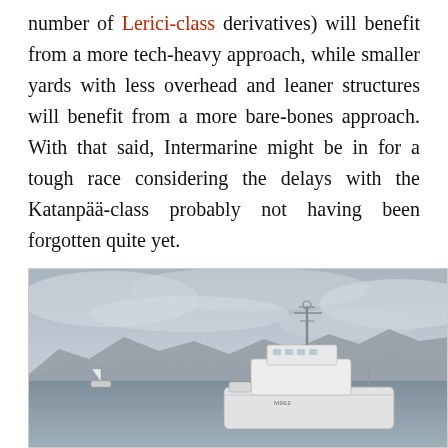number of Lerici-class derivatives) will benefit from a more tech-heavy approach, while smaller yards with less overhead and leaner structures will benefit from a more bare-bones approach. With that said, Intermarine might be in for a tough race considering the delays with the Katanpää-class probably not having been forgotten quite yet.
[Figure (photo): A naval vessel (minehunter/minesweeper ship with hull number M962) photographed at sea with a grey overcast sky and distant mountain range in the background. A small sailboat is visible in the left background.]